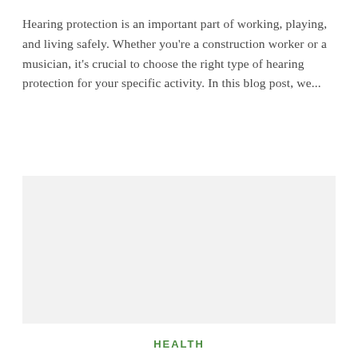Hearing protection is an important part of working, playing, and living safely. Whether you're a construction worker or a musician, it's crucial to choose the right type of hearing protection for your specific activity. In this blog post, we...
[Figure (photo): A large light gray rectangular placeholder image area]
HEALTH